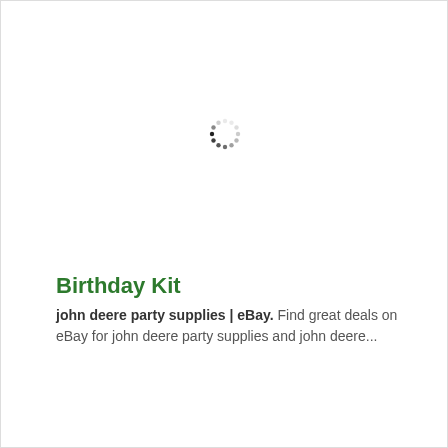[Figure (other): Loading spinner icon — small circular spinner with dots arranged in a circle, partially faded, indicating a loading state]
Birthday Kit
john deere party supplies | eBay. Find great deals on eBay for john deere party supplies and john deere...